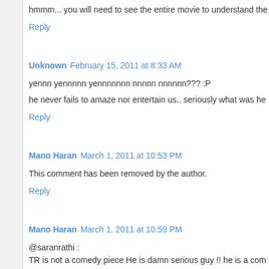hmmm... you will need to see the entire movie to understand the
Reply
Unknown  February 15, 2011 at 8:33 AM
yennn yennnnn yennnnnnn nnnnn nnnnnn??? :P
he never fails to amaze nor entertain us.. seriously what was he
Reply
Mano Haran  March 1, 2011 at 10:53 PM
This comment has been removed by the author.
Reply
Mano Haran  March 1, 2011 at 10:59 PM
@saranrathi :
TR is not a comedy piece He is damn serious guy !! he is a com
Reply